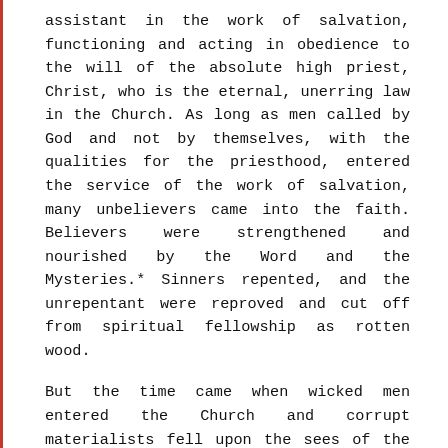assistant in the work of salvation, functioning and acting in obedience to the will of the absolute high priest, Christ, who is the eternal, unerring law in the Church. As long as men called by God and not by themselves, with the qualities for the priesthood, entered the service of the work of salvation, many unbelievers came into the faith. Believers were strengthened and nourished by the Word and the Mysteries.* Sinners repented, and the unrepentant were reproved and cut off from spiritual fellowship as rotten wood.
But the time came when wicked men entered the Church and corrupt materialists fell upon the sees of the bishops, until the false bishops which exist today. They seized positions of power in the Church by means of money and political maneuvering, and since then, grievous wolves have entered the fold, sparing it not.
There were far fewer clergymen and bishops in the Church